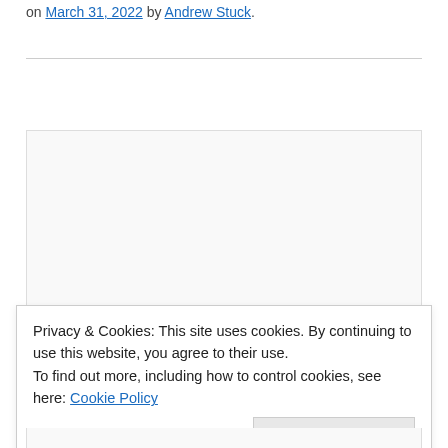on March 31, 2022 by Andrew Stuck.
[Figure (other): Advertisement or embedded content placeholder box]
Privacy & Cookies: This site uses cookies. By continuing to use this website, you agree to their use.
To find out more, including how to control cookies, see here: Cookie Policy
Close and accept